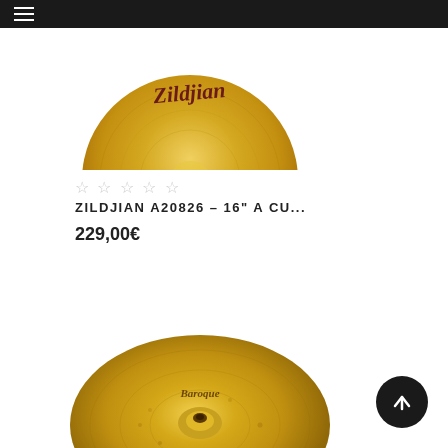Navigation menu header bar
[Figure (photo): Top portion of a gold Zildjian cymbal with Zildjian logo visible, cropped at bottom of image]
☆☆☆☆☆
ZILDJIAN A20826 – 16" A CU...
229,00€
[Figure (photo): Gold/brass Zildjian cymbal (Baroque style) shown from above at an angle, with center bell visible and hammered texture surface, partially cropped]